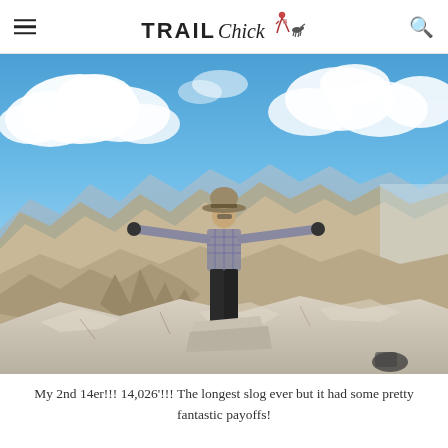TRAIL Chick [logo with runner and dog icons]
[Figure (photo): A person standing on a rocky mountain summit with arms outstretched wide, wearing a wide-brim hat, long-sleeve shirt, and dark pants. Blue sky with white clouds behind them, and a vast rocky mountain range stretching into the distance below.]
My 2nd 14er!!! 14,026'!!! The longest slog ever but it had some pretty fantastic payoffs!